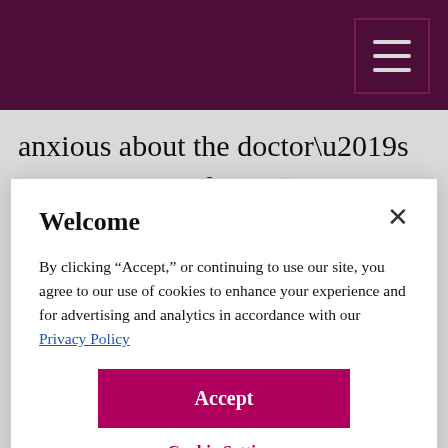anxious about the doctor’s appointment today?” “Mom, you keep asking me what’s for dinner and it is still several hours away. Why don’t we have an apple?” “I’m sorry if
Welcome
By clicking “Accept,” or continuing to use our site, you agree to our use of cookies to enhance your experience and for advertising and analytics in accordance with our Privacy Policy
Accept
Cookie Settings